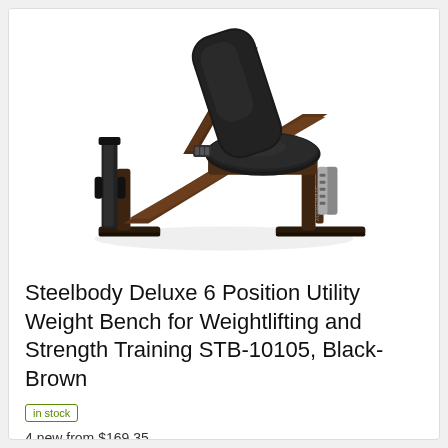[Figure (photo): A Steelbody adjustable utility weight bench with black padded seat and backrest, brown/dark metal frame, on a white background. The bench is shown at an incline angle with adjustment mechanism visible.]
Steelbody Deluxe 6 Position Utility Weight Bench for Weightlifting and Strength Training STB-10105, Black-Brown
in stock
4 new from $169.35